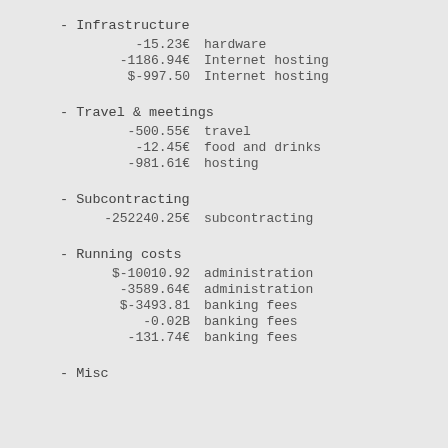- Infrastructure
-15.23€   hardware
-1186.94€   Internet hosting
$-997.50   Internet hosting
- Travel & meetings
-500.55€   travel
-12.45€   food and drinks
-981.61€   hosting
- Subcontracting
-252240.25€   subcontracting
- Running costs
$-10010.92   administration
-3589.64€   administration
$-3493.81   banking fees
-0.02B   banking fees
-131.74€   banking fees
- Misc